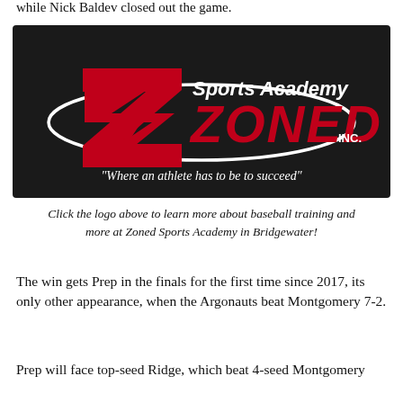while Nick Baldev closed out the game.
[Figure (logo): Zoned Sports Academy Inc. logo on black background with tagline 'Where an athlete has to be to succeed']
Click the logo above to learn more about baseball training and more at Zoned Sports Academy in Bridgewater!
The win gets Prep in the finals for the first time since 2017, its only other appearance, when the Argonauts beat Montgomery 7-2.
Prep will face top-seed Ridge, which beat 4-seed Montgomery